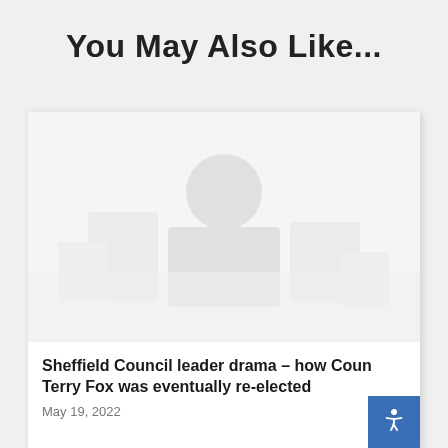You May Also Like...
[Figure (photo): Faded/washed out image placeholder within an article card]
Sheffield Council leader drama – how Coun Terry Fox was eventually re-elected
May 19, 2022